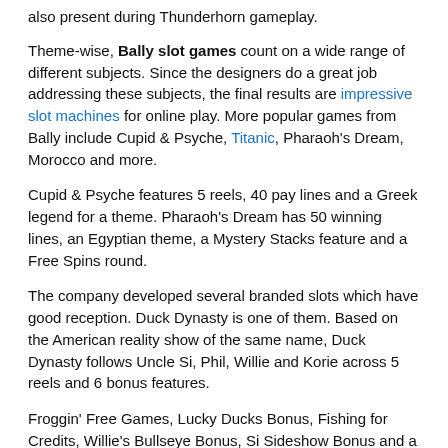also present during Thunderhorn gameplay.
Theme-wise, Bally slot games count on a wide range of different subjects. Since the designers do a great job addressing these subjects, the final results are impressive slot machines for online play. More popular games from Bally include Cupid & Psyche, Titanic, Pharaoh's Dream, Morocco and more.
Cupid & Psyche features 5 reels, 40 pay lines and a Greek legend for a theme. Pharaoh's Dream has 50 winning lines, an Egyptian theme, a Mystery Stacks feature and a Free Spins round.
The company developed several branded slots which have good reception. Duck Dynasty is one of them. Based on the American reality show of the same name, Duck Dynasty follows Uncle Si, Phil, Willie and Korie across 5 reels and 6 bonus features.
Froggin' Free Games, Lucky Ducks Bonus, Fishing for Credits, Willie's Bullseye Bonus, Si Sideshow Bonus and a Wheel of Fortune will rock your socks off. Pawn Stars is another hit show Bally adapted into a video slot for all car racing fans who like to spin away.